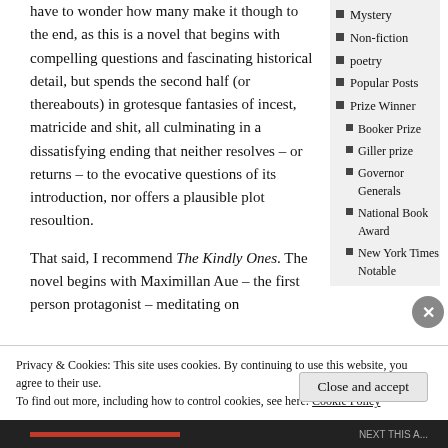have to wonder how many make it though to the end, as this is a novel that begins with compelling questions and fascinating historical detail, but spends the second half (or thereabouts) in grotesque fantasies of incest, matricide and shit, all culminating in a dissatisfying ending that neither resolves – or returns – to the evocative questions of its introduction, nor offers a plausible plot resoultion.
That said, I recommend The Kindly Ones. The novel begins with Maximillan Aue – the first person protagonist – meditating on
Mystery
Non-fiction
poetry
Popular Posts
Prize Winner
Booker Prize
Giller prize
Governor Generals
National Book Award
New York Times Notable
Privacy & Cookies: This site uses cookies. By continuing to use this website, you agree to their use.
To find out more, including how to control cookies, see here: Cookie Policy
Close and accept